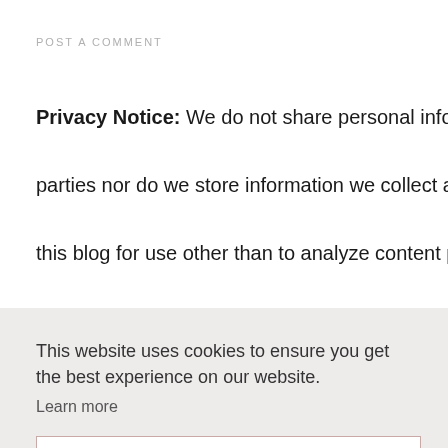POST A COMMENT
Privacy Notice: We do not share personal information with third parties nor do we store information we collect about your visit to this blog for use other than to analyze content performance through the use of cookies, which you can turn off at anytime by changing your browser settings. n this blog ... his priva...
This website uses cookies to ensure you get the best experience on our website. Learn more
Got it!